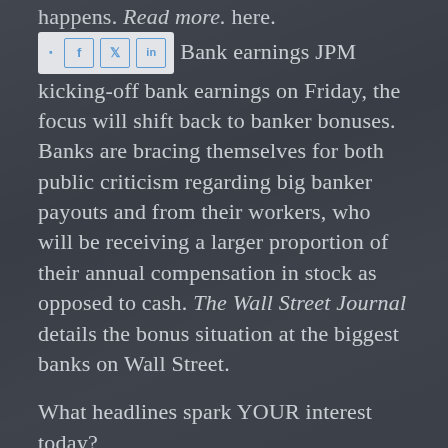happens. Read more. here.
[Figure (screenshot): Social sharing toolbar with share icon, Facebook (f), Twitter, and LinkedIn buttons on a light background]
Bank earnings JPM kicking-off bank earnings on Friday, the focus will shift back to banker bonuses. Banks are bracing themselves for both public criticism regarding big banker payouts and from their workers, who will be receiving a larger proportion of their annual compensation in stock as opposed to cash. The Wall Street Journal details the bonus situation at the biggest banks on Wall Street.
What headlines spark YOUR interest today?
To reach Rachel:
Phone: 212.840.5476